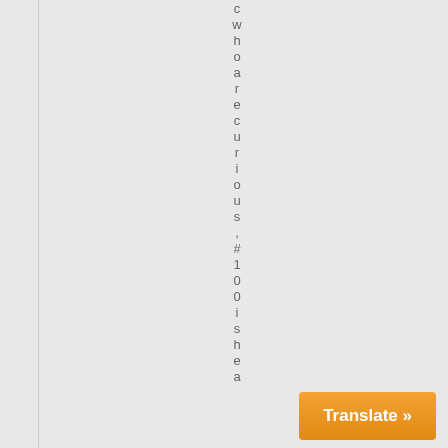c w h o a r e c u r i o u s , # 1 0 0 i s h e a
Translate »